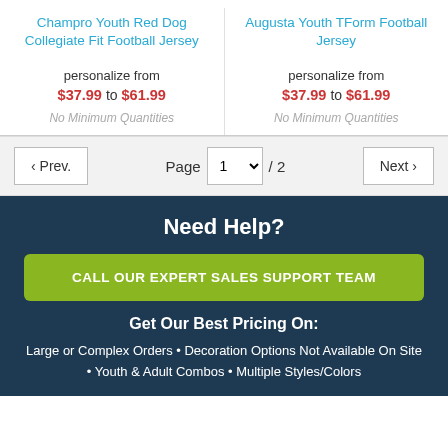Champro Youth Red Dog Collegiate Fit Football Jersey
personalize from $37.99 to $61.99
No Minimum Quantities
Augusta Youth TForm Football Jersey
personalize from $37.99 to $61.99
No Minimum Quantities
< Prev.   Page 1 / 2   Next >
Need Help?
CALL OUR EXPERT SALES SUPPORT TEAM
Get Our Best Pricing On:
Large or Complex Orders • Decoration Options Not Available On Site • Youth & Adult Combos • Multiple Styles/Colors